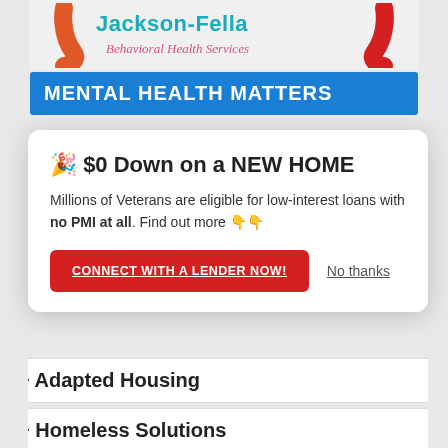[Figure (logo): Jackson-Fella Behavioral Health Services logo with teal text and pink italic subtitle, with orange and red swoosh elements]
MENTAL HEALTH MATTERS
🎉 $0 Down on a NEW HOME
Millions of Veterans are eligible for low-interest loans with no PMI at all. Find out more 👇👇
CONNECT WITH A LENDER NOW!
No thanks
+ Adapted Housing
+ Homeless Solutions
CAREER